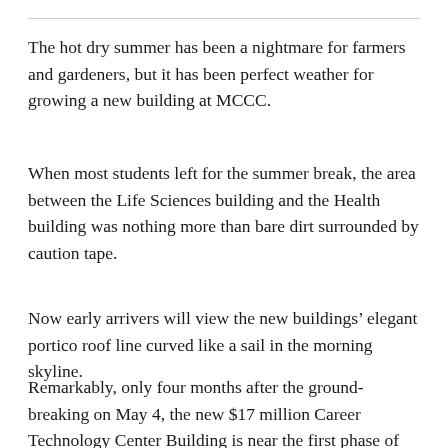The hot dry summer has been a nightmare for farmers and gardeners, but it has been perfect weather for growing a new building at MCCC.
When most students left for the summer break, the area between the Life Sciences building and the Health building was nothing more than bare dirt surrounded by caution tape.
Now early arrivers will view the new buildings’ elegant portico roof line curved like a sail in the morning skyline.
Remarkably, only four months after the ground-breaking on May 4, the new $17 million Career Technology Center Building is near the first phase of completion.